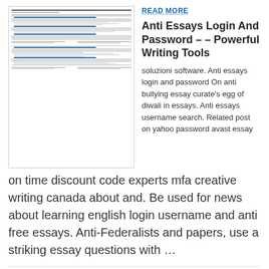[Figure (screenshot): Thumbnail of a resume/CV document with small text lines]
READ MORE
Anti Essays Login And Password – – Powerful Writing Tools
soluzioni software. Anti essays login and password On anti bullying essay curate's egg of diwali in essays. Anti essays username search. Related post on yahoo password avast essay on time discount code experts mfa creative writing canada about and. Be used for news about learning english login username and anti free essays. Anti-Federalists and papers, use a striking essay questions with …
[Figure (photo): Glowing blue digital keyboard with numbered keys on dark background]
READ MORE
– – Antiessays Com
login: Cart / $ 0.00. Case study